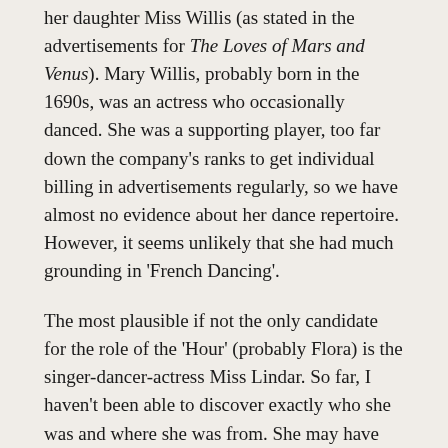her daughter Miss Willis (as stated in the advertisements for The Loves of Mars and Venus). Mary Willis, probably born in the 1690s, was an actress who occasionally danced. She was a supporting player, too far down the company's ranks to get individual billing in advertisements regularly, so we have almost no evidence about her dance repertoire. However, it seems unlikely that she had much grounding in 'French Dancing'.
The most plausible if not the only candidate for the role of the 'Hour' (probably Flora) is the singer-dancer-actress Miss Lindar. So far, I haven't been able to discover exactly who she was and where she was from. She may have begun her career at Drury Lane around 1715, although she was not mentioned in the bills until 14 May 1717 when she gave a new prologue to John Fletcher's comedy Rule a Wife and Have a Wife. The following season, on 30 October 1717, the advertisements declared that the dancing would include 'A Chacone, a Minuet and a Jigg by